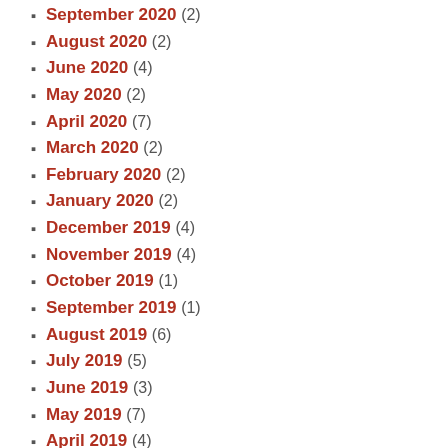September 2020 (2)
August 2020 (2)
June 2020 (4)
May 2020 (2)
April 2020 (7)
March 2020 (2)
February 2020 (2)
January 2020 (2)
December 2019 (4)
November 2019 (4)
October 2019 (1)
September 2019 (1)
August 2019 (6)
July 2019 (5)
June 2019 (3)
May 2019 (7)
April 2019 (4)
March 2019 (1)
February 2019 (1)
January 2019 (5)
December 2018 (5)
November 2018 (3)